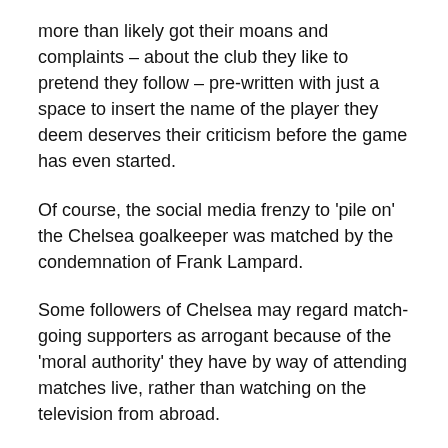more than likely got their moans and complaints – about the club they like to pretend they follow – pre-written with just a space to insert the name of the player they deem deserves their criticism before the game has even started.
Of course, the social media frenzy to 'pile on' the Chelsea goalkeeper was matched by the condemnation of Frank Lampard.
Some followers of Chelsea may regard match-going supporters as arrogant because of the 'moral authority' they have by way of attending matches live, rather than watching on the television from abroad.